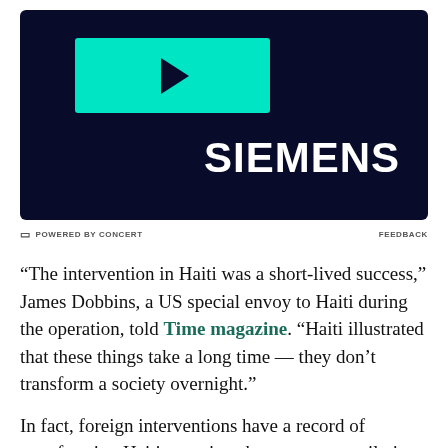[Figure (other): Advertisement banner with dark navy background. Left side shows a teal/cyan play button rectangle. Right side shows the word SIEMENS in large white bold text. Bottom shows 'POWERED BY CONCERT' on the left and 'FEEDBACK' on the right.]
“The intervention in Haiti was a short-lived success,” James Dobbins, a US special envoy to Haiti during the operation, told Time magazine. “Haiti illustrated that these things take a long time — they don’t transform a society overnight.”
In fact, foreign interventions have a record of transforming Haitian society, but not necessarily in a good way. In the aftermath of the January 2010